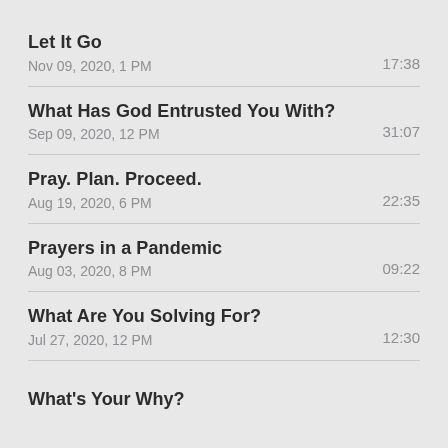Let It Go | Nov 09, 2020, 1 PM | 17:38
What Has God Entrusted You With? | Sep 09, 2020, 12 PM | 31:07
Pray. Plan. Proceed. | Aug 19, 2020, 6 PM | 22:35
Prayers in a Pandemic | Aug 03, 2020, 8 PM | 09:22
What Are You Solving For? | Jul 27, 2020, 12 PM | 12:30
What's Your Why?